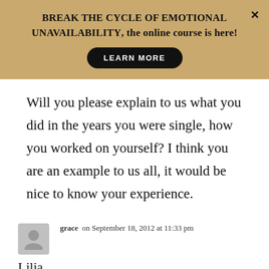[Figure (other): Promotional banner with tan/gold background. Text: 'BREAK THE CYCLE OF EMOTIONAL UNAVAILABILITY, the online course is here!' with a black 'LEARN MORE' button and an × close button.]
Will you please explain to us what you did in the years you were single, how you worked on yourself? I think you are an example to us all, it would be nice to know your experience.
grace on September 18, 2012 at 11:33 pm
Lilia